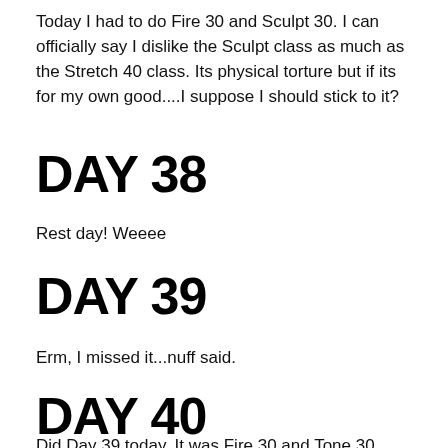Today I had to do Fire 30 and Sculpt 30. I can officially say I dislike the Sculpt class as much as the Stretch 40 class. Its physical torture but if its for my own good....I suppose I should stick to it?
DAY 38
Rest day! Weeee
DAY 39
Erm, I missed it...nuff said.
DAY 40
Did Day 39 today. It was Fire 30 and Tone 30. Actually time passes